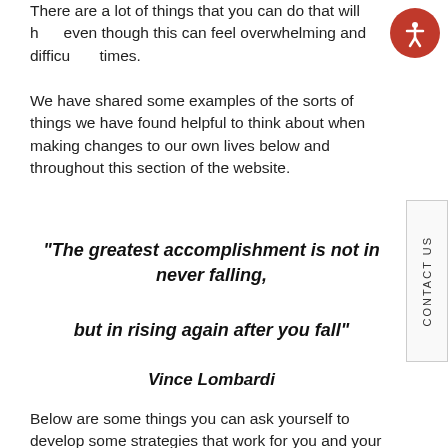There are a lot of things that you can do that will help even though this can feel overwhelming and difficult times.
We have shared some examples of the sorts of things we have found helpful to think about when making changes to our own lives below and throughout this section of the website.
"The greatest accomplishment is not in never falling, but in rising again after you fall" Vince Lombardi
Below are some things you can ask yourself to develop some strategies that work for you and your situation. This is all about looking at your own strengths. You can also think about this more in the next section